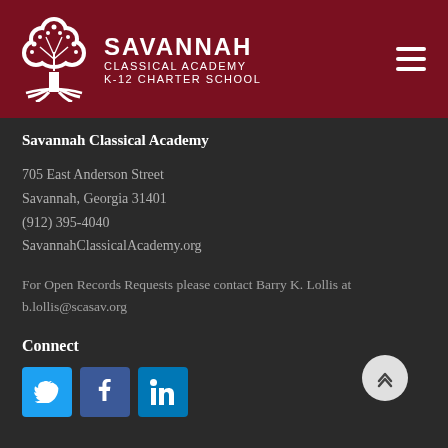[Figure (logo): Savannah Classical Academy logo with tree and header navigation]
Savannah Classical Academy
705 East Anderson Street
Savannah, Georgia 31401
(912) 395-4040
SavannahClassicalAcademy.org
For Open Records Requests please contact Barry K. Lollis at b.lollis@scasav.org
Connect
[Figure (illustration): Social media icons: Twitter (blue bird), Facebook (blue f), LinkedIn (blue in)]